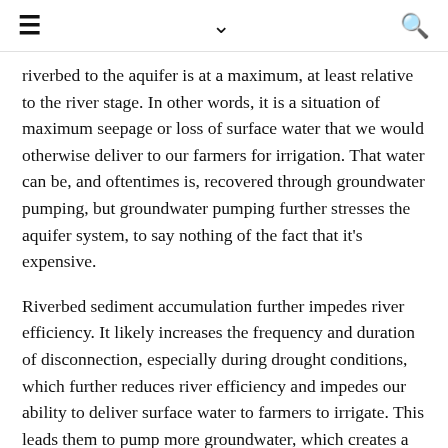≡  ∨  🔍
riverbed to the aquifer is at a maximum, at least relative to the river stage. In other words, it is a situation of maximum seepage or loss of surface water that we would otherwise deliver to our farmers for irrigation. That water can be, and oftentimes is, recovered through groundwater pumping, but groundwater pumping further stresses the aquifer system, to say nothing of the fact that it's expensive.
Riverbed sediment accumulation further impedes river efficiency. It likely increases the frequency and duration of disconnection, especially during drought conditions, which further reduces river efficiency and impedes our ability to deliver surface water to farmers to irrigate. This leads them to pump more groundwater, which creates a positive feedback loop with costly effects. Riverbed sediment accumulation can also reduce a system's capacity to handle flooding.